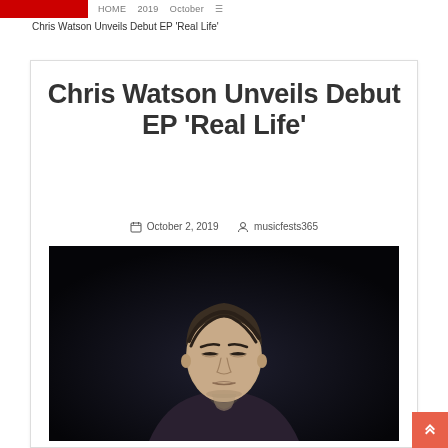Chris Watson Unveils Debut EP 'Real Life'
Chris Watson Unveils Debut EP 'Real Life'
October 2, 2019   musicfests365
[Figure (photo): Portrait photo of a young man with slicked-back hair, eyes downcast, wearing a dark jacket, against a dark background]